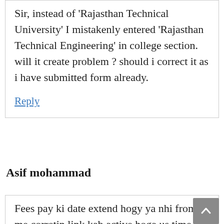Sir, instead of 'Rajasthan Technical University' I mistakenly entered 'Rajasthan Technical Engineering' in college section. will it create problem ? should i correct it as i have submitted form already.
Reply
Asif mohammad
Fees pay ki date extend hogy ya nhi from me corretin link kab active hoga us time